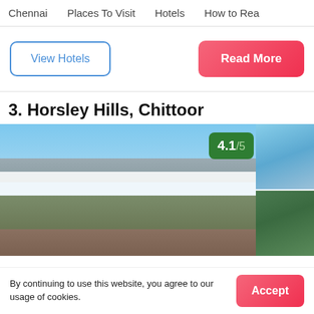Chennai   Places To Visit   Hotels   How to Rea
View Hotels
Read More
3. Horsley Hills, Chittoor
[Figure (photo): Panoramic landscape photo of Horsley Hills showing mountains, clouds, and valley with a 4.1/5 rating badge on the top right. A second strip of photos is visible on the far right.]
By continuing to use this website, you agree to our usage of cookies.
Accept